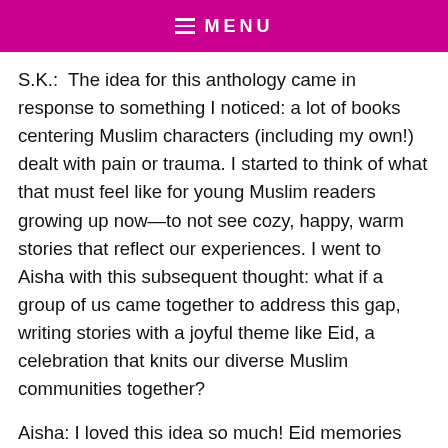MENU
S.K.:  The idea for this anthology came in response to something I noticed: a lot of books centering Muslim characters (including my own!) dealt with pain or trauma. I started to think of what that must feel like for young Muslim readers growing up now—to not see cozy, happy, warm stories that reflect our experiences. I went to Aisha with this subsequent thought: what if a group of us came together to address this gap, writing stories with a joyful theme like Eid, a celebration that knits our diverse Muslim communities together?
Aisha: I loved this idea so much! Eid memories are among my fondest childhood memories and to capture these experiences for young readers felt wonderful. While stories about difficult topics and issues are also necessary, and we need more of